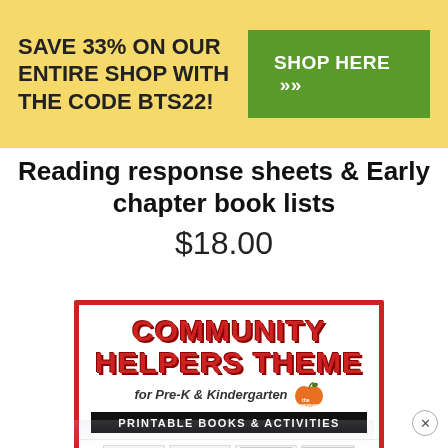SAVE 33% ON OUR ENTIRE SHOP WITH THE CODE BTS22!
SHOP HERE »
Reading response sheets & Early chapter book lists
$18.00
[Figure (illustration): Product cover image for 'Community Helpers Theme for Pre-K & Kindergarten – Printable Books & Activities' with red border, bold red text title, and worksheet previews at the bottom.]